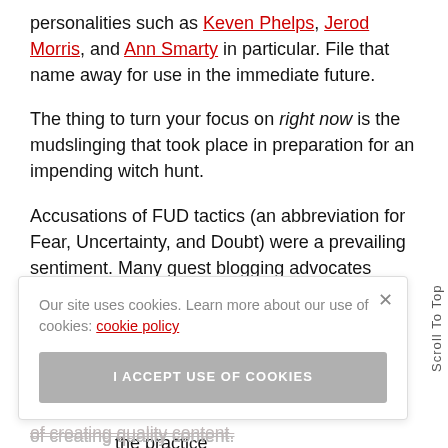personalities such as Keven Phelps, Jerod Morris, and Ann Smarty in particular. File that name away for use in the immediate future.
The thing to turn your focus on right now is the mudslinging that took place in preparation for an impending witch hunt.
Accusations of FUD tactics (an abbreviation for Fear, Uncertainty, and Doubt) were a prevailing sentiment. Many guest blogging advocates admonished Cutts and Google for putting out a propaganda piece designed as a PR stunt to frighten [people] would be [...] ate [...] nd sites [...] the practice of creating quality content.
Our site uses cookies. Learn more about our use of cookies: cookie policy
I ACCEPT USE OF COOKIES
of creating quality content.